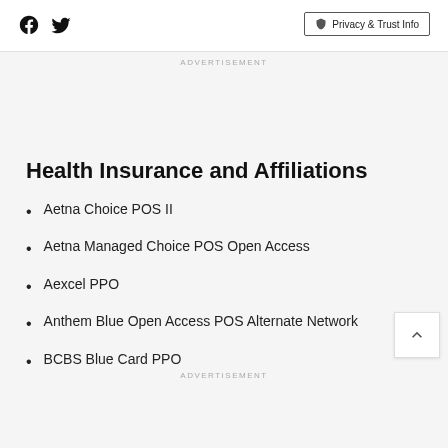Facebook Twitter | Privacy & Trust Info
ADVERTISEMENT
Health Insurance and Affiliations
Aetna Choice POS II
Aetna Managed Choice POS Open Access
Aexcel PPO
Anthem Blue Open Access POS Alternate Network
BCBS Blue Card PPO
ADVERTISEMENT